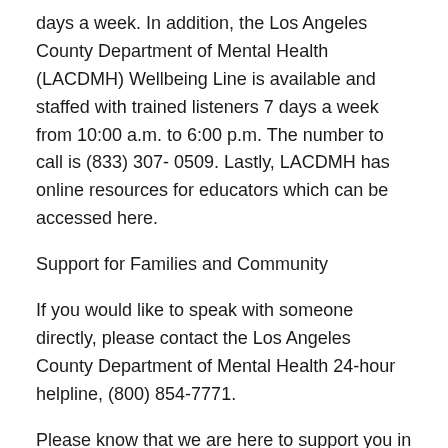days a week. In addition, the Los Angeles County Department of Mental Health (LACDMH) Wellbeing Line is available and staffed with trained listeners 7 days a week from 10:00 a.m. to 6:00 p.m. The number to call is (833) 307- 0509. Lastly, LACDMH has online resources for educators which can be accessed here.
Support for Families and Community
If you would like to speak with someone directly, please contact the Los Angeles County Department of Mental Health 24-hour helpline, (800) 854-7771.
Please know that we are here to support you in any way we can. If you feel you may need extra support during this difficult time, please take advantage of these resources.